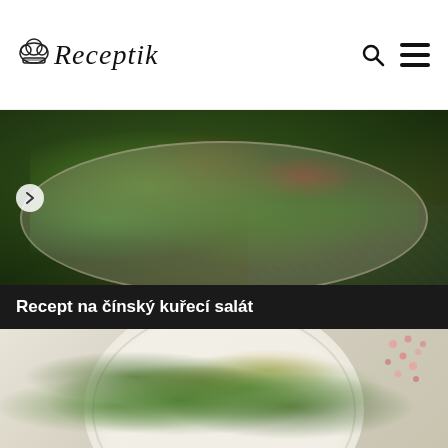Receptik
[Figure (photo): Close-up photo of a salad in a bowl on a checkered tablecloth, with green leaves, tomatoes, and dark vegetables. A right-arrow navigation button is visible on the left side.]
Recept na čínský kuřecí salát
[Figure (photo): Photo of a Chinese chicken salad on a white plate, with green leaves, radicchio, croutons, seeds, and pink pomegranate seeds scattered on the plate.]